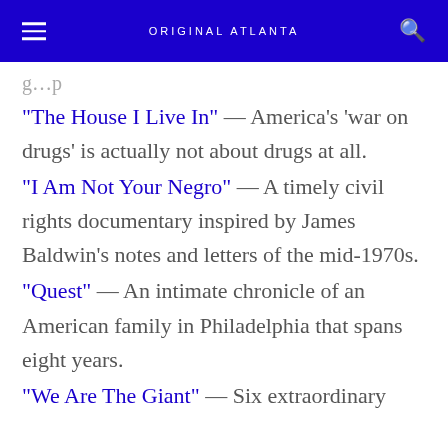ORIGINAL ATLANTA
"The House I Live In" — America's 'war on drugs' is actually not about drugs at all.
"I Am Not Your Negro" — A timely civil rights documentary inspired by James Baldwin's notes and letters of the mid-1970s.
"Quest" — An intimate chronicle of an American family in Philadelphia that spans eight years.
"We Are The Giant" — Six extraordinary